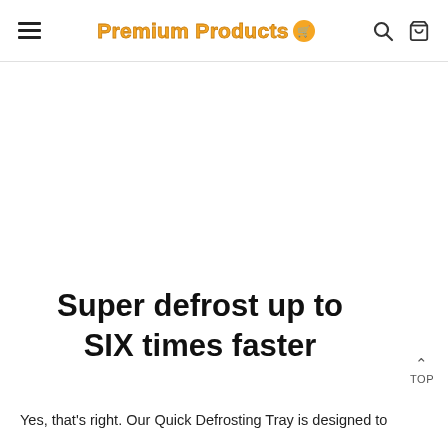Premium Products [logo icon]
Super defrost up to SIX times faster
Yes, that's right. Our Quick Defrosting Tray is designed to